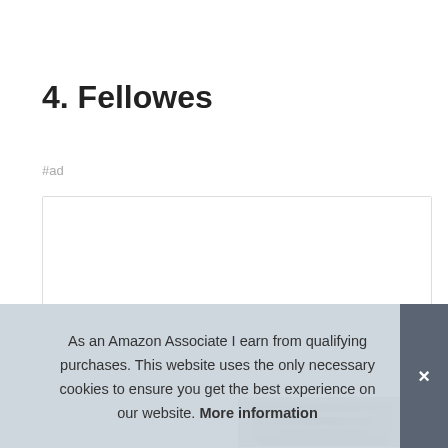4. Fellowes
#ad
[Figure (photo): Product listing box with white background and partial product image (dark mechanical object) visible at the bottom]
As an Amazon Associate I earn from qualifying purchases. This website uses the only necessary cookies to ensure you get the best experience on our website. More information